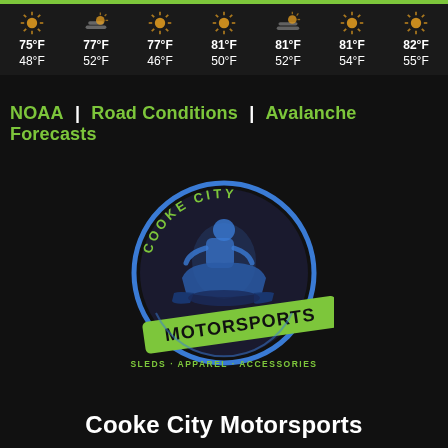[Figure (infographic): 7-day weather forecast row showing sun icons with high and low temperatures: 75/48°F, 77/52°F, 77/46°F, 81/50°F, 81/52°F, 81/54°F, 82/55°F]
NOAA | Road Conditions | Avalanche Forecasts
[Figure (logo): Cooke City Motorsports logo — circular blue illustration of a snowmobile rider with green text 'COOKE CITY' around top, 'MOTORSPORTS' in large green diagonal banner across center, and 'SLEDS · APPAREL · ACCESSORIES' at bottom in green]
Cooke City Motorsports